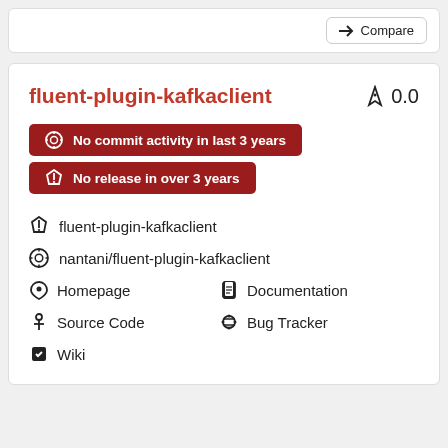Compare
fluent-plugin-kafkaclient
0.0
No commit activity in last 3 years
No release in over 3 years
fluent-plugin-kafkaclient
nantani/fluent-plugin-kafkaclient
Homepage
Documentation
Source Code
Bug Tracker
Wiki